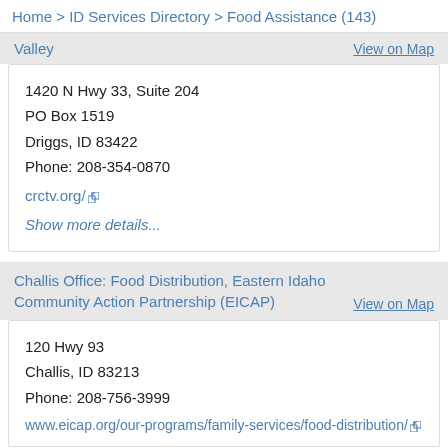Home > ID Services Directory > Food Assistance (143)
Valley    View on Map
1420 N Hwy 33, Suite 204
PO Box 1519
Driggs, ID 83422
Phone: 208-354-0870
crctv.org/
Show more details...
Challis Office: Food Distribution, Eastern Idaho Community Action Partnership (EICAP)    View on Map
120 Hwy 93
Challis, ID 83213
Phone: 208-756-3999
www.eicap.org/our-programs/family-services/food-distribution/